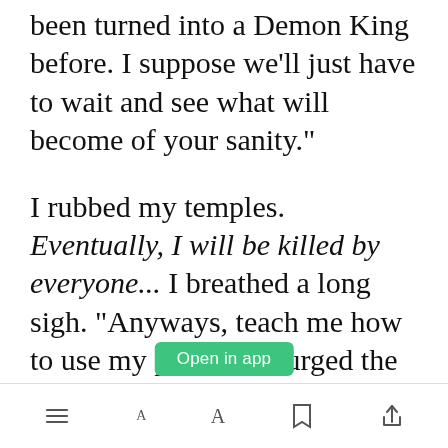finally, well no nobles have ever been turned into a Demon King before. I suppose we'll just have to wait and see what will become of your sanity."
I rubbed my temples. Eventually, I will be killed by everyone... I breathed a long sigh. "Anyways, teach me how to use my powers," I urged the Wight
Open in app